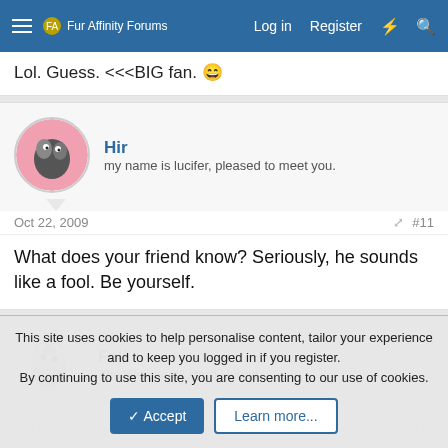Fur Affinity Forums — Log in  Register
Lol. Guess. <<<BIG fan. 😄
Hir
my name is lucifer, pleased to meet you.
Oct 22, 2009  #11
What does your friend know? Seriously, he sounds like a fool. Be yourself.
Fell
The Werewolf/Lizard Hybrid
Oct 22, 2009  #12
This site uses cookies to help personalise content, tailor your experience and to keep you logged in if you register.
By continuing to use this site, you are consenting to our use of cookies.